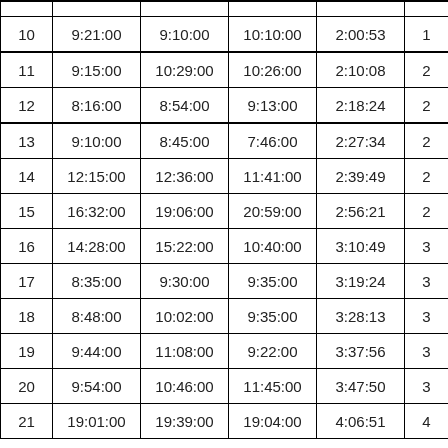| # | Col2 | Col3 | Col4 | Col5 | Col6 |
| --- | --- | --- | --- | --- | --- |
| 10 | 9:21:00 | 9:10:00 | 10:10:00 | 2:00:53 | 1... |
| 11 | 9:15:00 | 10:29:00 | 10:26:00 | 2:10:08 | 2... |
| 12 | 8:16:00 | 8:54:00 | 9:13:00 | 2:18:24 | 2... |
| 13 | 9:10:00 | 8:45:00 | 7:46:00 | 2:27:34 | 2... |
| 14 | 12:15:00 | 12:36:00 | 11:41:00 | 2:39:49 | 2... |
| 15 | 16:32:00 | 19:06:00 | 20:59:00 | 2:56:21 | 2... |
| 16 | 14:28:00 | 15:22:00 | 10:40:00 | 3:10:49 | 3... |
| 17 | 8:35:00 | 9:30:00 | 9:35:00 | 3:19:24 | 3... |
| 18 | 8:48:00 | 10:02:00 | 9:35:00 | 3:28:13 | 3... |
| 19 | 9:44:00 | 11:08:00 | 9:22:00 | 3:37:56 | 3... |
| 20 | 9:54:00 | 10:46:00 | 11:45:00 | 3:47:50 | 3... |
| 21 | 19:01:00 | 19:39:00 | 19:04:00 | 4:06:51 | 4... |